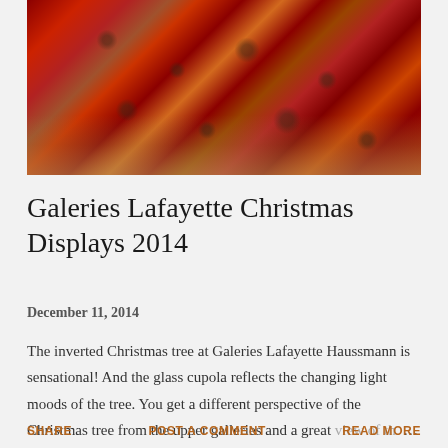[Figure (photo): An inverted Christmas tree with red and multicolored decorations hanging from the ceiling of Galeries Lafayette Haussmann, with ornate arched architecture visible in the background.]
Galeries Lafayette Christmas Displays 2014
December 11, 2014
The inverted Christmas tree at Galeries Lafayette Haussmann is sensational! And the glass cupola reflects the changing light moods of the tree. You get a different perspective of the Christmas tree from the upper galleries and a great view of th…
SHARE   POST A COMMENT   READ MORE